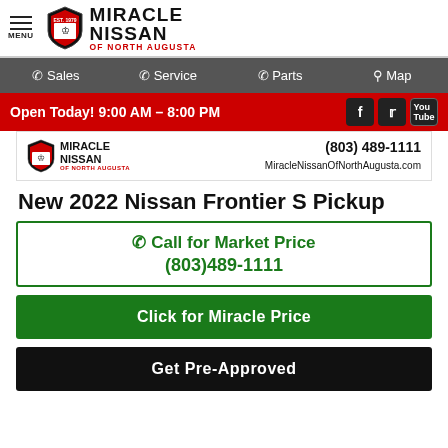MIRACLE NISSAN OF NORTH AUGUSTA
Sales | Service | Parts | Map
Open Today! 9:00 AM - 8:00 PM
[Figure (logo): Miracle Nissan of North Augusta dealer banner with logo, phone (803) 489-1111, and website MiracleNissanOfNorthAugusta.com]
New 2022 Nissan Frontier S Pickup
Call for Market Price (803)489-1111
Click for Miracle Price
Get Pre-Approved